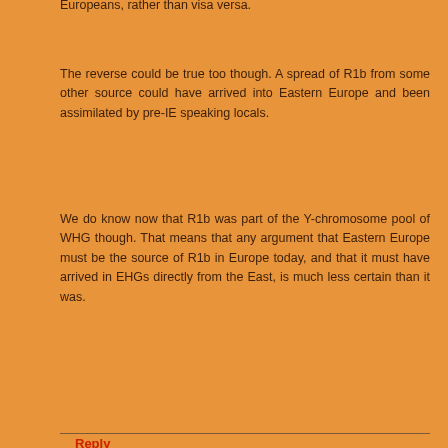Europeans, rather than visa versa.
The reverse could be true too though. A spread of R1b from some other source could have arrived into Eastern Europe and been assimilated by pre-IE speaking locals.
We do know now that R1b was part of the Y-chromosome pool of WHG though. That means that any argument that Eastern Europe must be the source of R1b in Europe today, and that it must have arrived in EHGs directly from the East, is much less certain than it was.
Reply
Joyce May 11, 2016 at 5:35 PM
It is highly unlikely that those nice cave paintings in Europe were arts by the ancestors of Europeans, because most Paleo-cDNAs in northern Eurasia have much more affinity with East Asians and Amerindians. Thanks to cows, R1 in